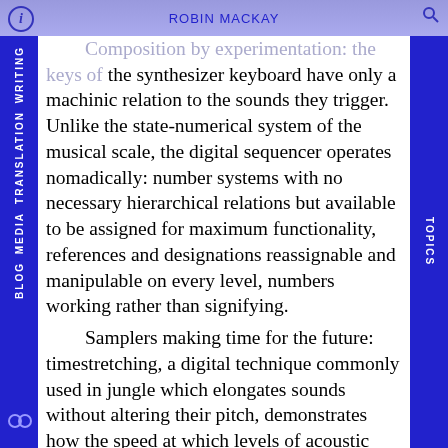ROBIN MACKAY
Composition by experimentation: the keys of the synthesizer keyboard have only a machinic relation to the sounds they trigger. Unlike the state-numerical system of the musical scale, the digital sequencer operates nomadically: number systems with no necessary hierarchical relations but available to be assigned for maximum functionality, references and designations reassignable and manipulable on every level, numbers working rather than signifying.

Samplers making time for the future: timestretching, a digital technique commonly used in jungle which elongates sounds without altering their pitch, demonstrates how the speed at which levels of acoustic intensity are digitally recorded (around 44,000 samples/second) means that a certain level of destratification is